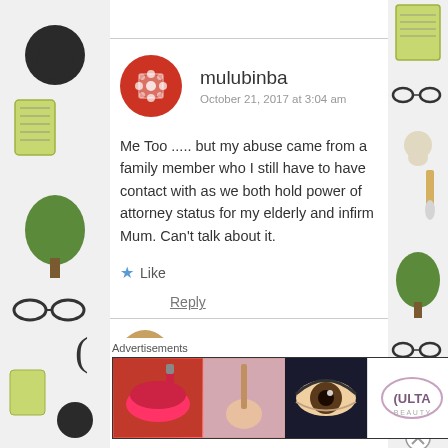[Figure (illustration): Left decorative sidebar with various illustrated objects: silhouette figures, glasses, trees, kitchen items, on light background]
[Figure (illustration): Right decorative sidebar with illustrated objects: glasses, animal figurine, brush, trees, kitchen grater on light background]
mulubinba
October 21, 2017 at 3:04 am
Me Too ..... but my abuse came from a family member who I still have to have contact with as we both hold power of attorney status for my elderly and infirm Mum. Can't talk about it.
Like
Reply
[Figure (photo): Partial view of next commenter avatar (person photo) and partially visible commenter name beginning with 'C']
Advertisements
[Figure (photo): Ulta Beauty advertisement banner showing makeup images: lips with lipstick, brush, eye with mascara, Ulta logo, eye close-up, with SHOP NOW text]